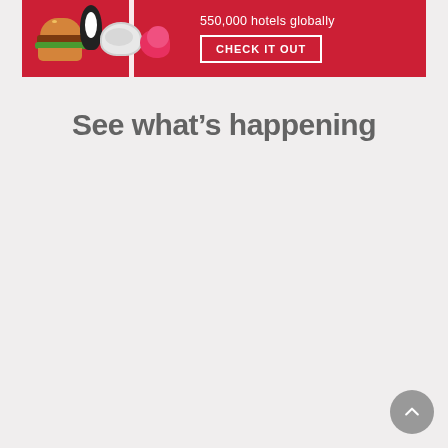[Figure (illustration): Red promotional banner with cartoon characters (penguin, burger, towel, flower) on the left side and text '550,000 hotels globally' with a 'CHECK IT OUT' button on the right side.]
See what's happening
[Figure (illustration): Circular scroll-to-top button with upward arrow, grey colored, positioned at bottom right.]